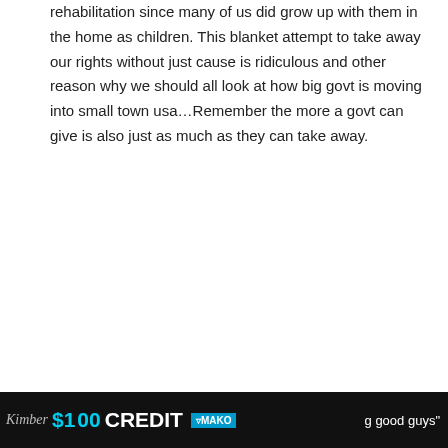rehabilitation since many of us did grow up with them in the home as children. This blanket attempt to take away our rights without just cause is ridiculous and other reason why we should all look at how big govt is moving into small town usa…Remember the more a govt can give is also just as much as they can take away.
Reply
Pocono Shooting Range
December 10, 2012 At 17:33
Why focus on “Gun” Violence?
Why not focus on “Train Pushing” Violence?
or “knife stabbing” violence?
"
[Figure (screenshot): Advertisement banner with dark background showing '$100 CREDIT' text and MAKO logo, with partial text 'g good guys"' on right side]